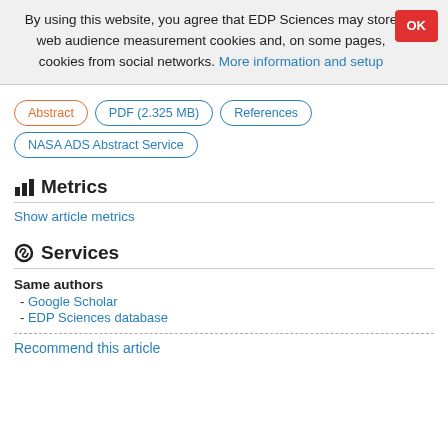By using this website, you agree that EDP Sciences may store web audience measurement cookies and, on some pages, cookies from social networks. More information and setup
Abstract | PDF (2.325 MB) | References | NASA ADS Abstract Service
Metrics
Show article metrics
Services
Same authors
- Google Scholar
- EDP Sciences database
Recommend this article